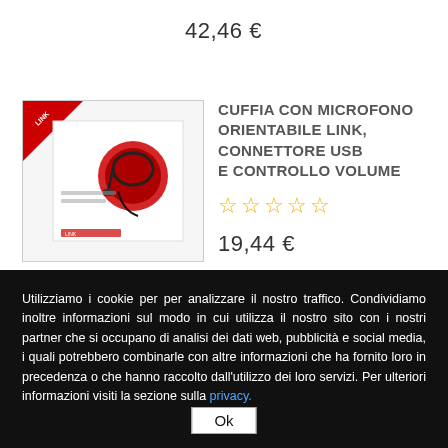42,46 €
[Figure (photo): Product photo of a headset with microphone in packaging, with red and white design elements]
CUFFIA CON MICROFONO ORIENTABILE LINK, CONNETTORE USB E CONTROLLO VOLUME
☆ ☆ ☆ ☆ ☆
19,44 €
Utilizziamo i cookie per per analizzare il nostro traffico. Condividiamo inoltre informazioni sul modo in cui utilizza il nostro sito con i nostri partner che si occupano di analisi dei dati web, pubblicità e social media, i quali potrebbero combinarle con altre informazioni che ha fornito loro in precedenza o che hanno raccolto dall'utilizzo dei loro servizi. Per ulteriori informazioni visiti la sezione sulla privacy.
Ok